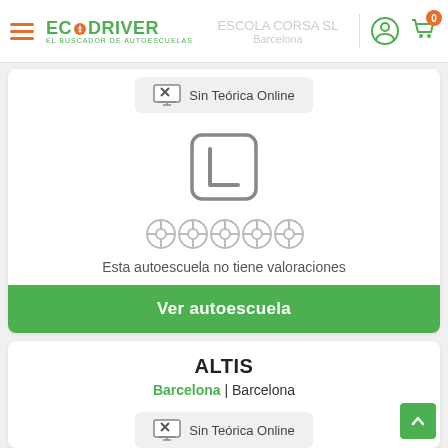EcODriver — El Buscador de Autoescuelas
[Figure (screenshot): Sin Teórica Online badge with monitor and X icon]
[Figure (illustration): Learner plate L icon (square with rounded corners)]
[Figure (illustration): Five grey steering wheel rating icons]
Esta autoescuela no tiene valoraciones
Ver autoescuela
ALTIS
Barcelona | Barcelona
[Figure (screenshot): Sin Teórica Online badge with monitor and X icon]